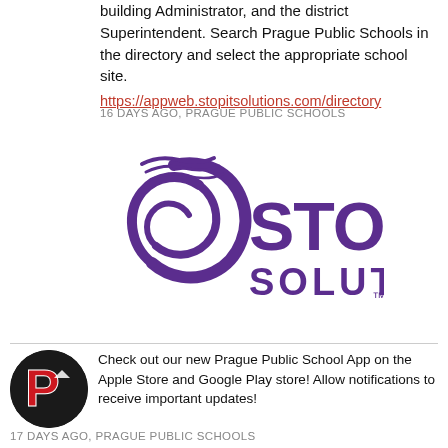building Administrator, and the district Superintendent. Search Prague Public Schools in the directory and select the appropriate school site.
https://appweb.stopitsolutions.com/directory
16 DAYS AGO, PRAGUE PUBLIC SCHOOLS
[Figure (logo): STOPit Solutions logo — purple stylized swirl icon on the left, bold purple text 'STOPit' on the right with 'SOLUTIONS' below in purple with TM mark]
Check out our new Prague Public School App on the Apple Store and Google Play store! Allow notifications to receive important updates!
17 DAYS AGO, PRAGUE PUBLIC SCHOOLS